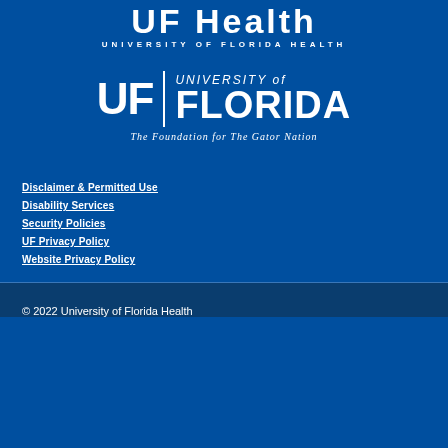[Figure (logo): UF Health - University of Florida Health logo, white text on dark blue background, showing stylized 'UF Health' wordmark with 'UNIVERSITY OF FLORIDA HEALTH' subtitle]
[Figure (logo): University of Florida logo with 'UF' letters, vertical divider line, 'UNIVERSITY of FLORIDA' text, and 'The Foundation for The Gator Nation' tagline, all in white on dark blue]
Disclaimer & Permitted Use
Disability Services
Security Policies
UF Privacy Policy
Website Privacy Policy
© 2022 University of Florida Health